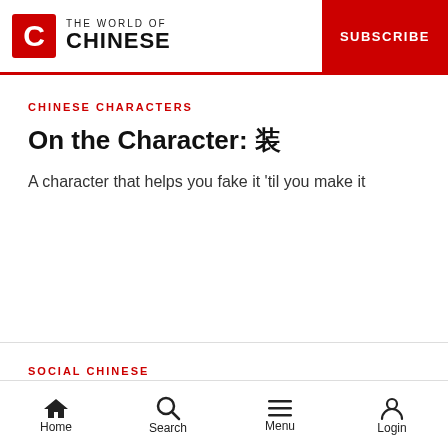THE WORLD OF CHINESE | SUBSCRIBE
CHINESE CHARACTERS
On the Character: 装
A character that helps you fake it 'til you make it
SOCIAL CHINESE
Slang for Noobs
Home  Search  Menu  Login